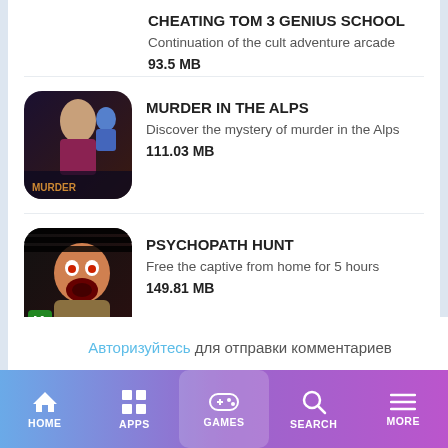CHEATING TOM 3 GENIUS SCHOOL
Continuation of the cult adventure arcade
93.5 MB
[Figure (illustration): App icon for Murder in the Alps]
MURDER IN THE ALPS
Discover the mystery of murder in the Alps
111.03 MB
[Figure (illustration): App icon for Psychopath Hunt]
PSYCHOPATH HUNT
Free the captive from home for 5 hours
149.81 MB
Авторизуйтесь для отправки комментариев
Login by
HOME  APPS  GAMES  SEARCH  MORE